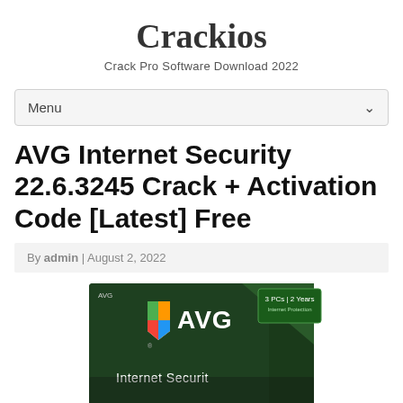Crackios
Crack Pro Software Download 2022
Menu
AVG Internet Security 22.6.3245 Crack + Activation Code [Latest] Free
By admin | August 2, 2022
[Figure (photo): AVG Internet Security product box image showing the AVG logo and 'Internet Security' text on a dark green box]